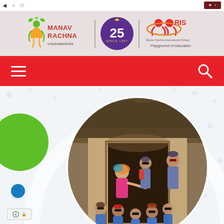[Figure (logo): Manav Rachna Vidyanatariksha logo, 25 years anniversary badge, and MRIS (Manav Rachna International School) logo with tagline Playground of education]
[Figure (screenshot): Red navigation bar with hamburger menu icon on left and search icon on right]
[Figure (photo): Circular cropped photo of school children in blue uniforms with sunglasses and caps on a field trip, with a woman in traditional Indian dress pointing, standing at entrance of a thatched-roof heritage structure]